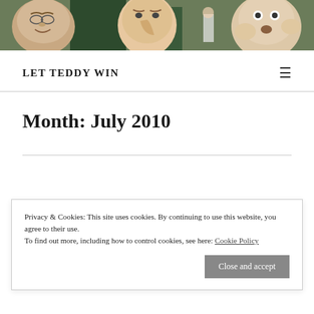[Figure (photo): Header photo showing large puppet/mascot heads of cartoon-like characters in an outdoor sports venue setting]
LET TEDDY WIN
Month: July 2010
Privacy & Cookies: This site uses cookies. By continuing to use this website, you agree to their use.
To find out more, including how to control cookies, see here: Cookie Policy
Close and accept